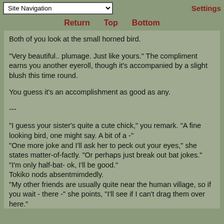Site Navigation | Return | Top | Bottom | Settings
Both of you look at the small horned bird.

"Very beautiful.. plumage. Just like yours." The compliment earns you another eyeroll, though it's accompanied by a slight blush this time round.

You guess it's an accomplishment as good as any.

---

"I guess your sister's quite a cute chick," you remark. "A fine looking bird, one might say. A bit of a -"
"One more joke and I'll ask her to peck out your eyes," she states matter-of-factly. "Or perhaps just break out bat jokes."
"I'm only half-bat- ok, I'll be good."
Tokiko nods absentmimdedly.
"My other friends are usually quite near the human village, so if you wait - there -" she points, "I'll see if I can't drag them over here."